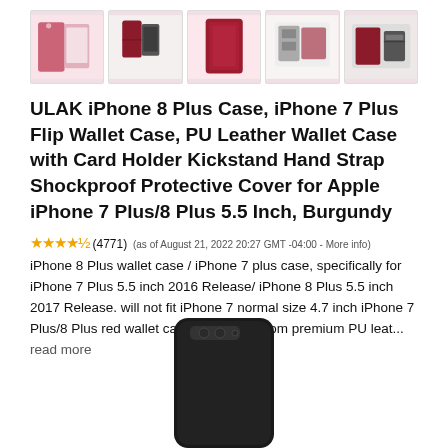[Figure (photo): Five product thumbnail images of the ULAK iPhone case in burgundy/red color, showing various angles and features]
ULAK iPhone 8 Plus Case, iPhone 7 Plus Flip Wallet Case, PU Leather Wallet Case with Card Holder Kickstand Hand Strap Shockproof Protective Cover for Apple iPhone 7 Plus/8 Plus 5.5 Inch, Burgundy
(4771) (as of August 21, 2022 20:27 GMT -04:00 - More info) iPhone 8 Plus wallet case / iPhone 7 plus case, specifically for iPhone 7 Plus 5.5 inch 2016 Release/ iPhone 8 Plus 5.5 inch 2017 Release. will not fit iPhone 7 normal size 4.7 inch iPhone 7 Plus/8 Plus red wallet case folio made from premium PU leat... read more
[Figure (photo): Black iPhone 8 Plus shown from the back, partially visible at bottom of page]